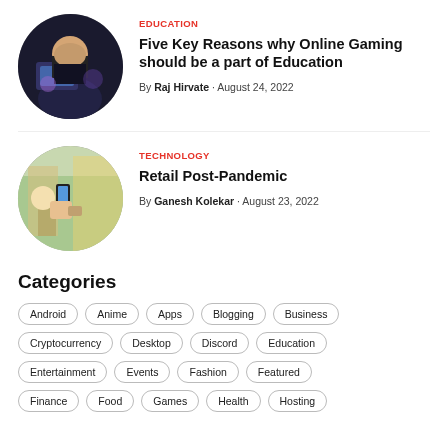[Figure (photo): Circular thumbnail of a person gaming at a computer in a dark arena setting]
EDUCATION
Five Key Reasons why Online Gaming should be a part of Education
By Raj Hirvate · August 24, 2022
[Figure (photo): Circular thumbnail of hands holding mobile devices at a retail/market setting]
TECHNOLOGY
Retail Post-Pandemic
By Ganesh Kolekar · August 23, 2022
Categories
Android
Anime
Apps
Blogging
Business
Cryptocurrency
Desktop
Discord
Education
Entertainment
Events
Fashion
Featured
Finance
Food
Games
Health
Hosting